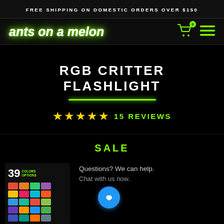FREE SHIPPING ON DOMESTIC ORDERS OVER $150
[Figure (logo): Ants on a Melon logo in white italic bold text with green glow, cart icon with badge '0', and hamburger menu icon in green]
RGB CRITTER FLASHLIGHT
★★★★★ 15 REVIEWS
SALE
[Figure (other): Product box showing '39 COLORS OPTIONS' with a colorful grid of color swatches]
Questions? We can help. Chat with us now.